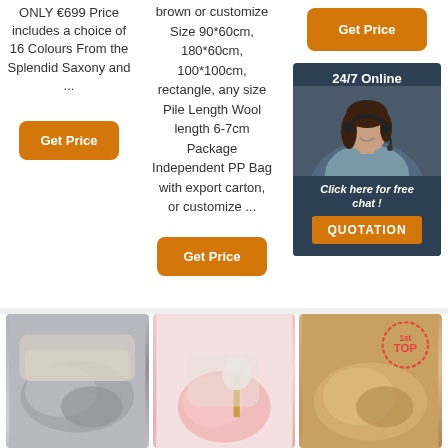ONLY €699 Price includes a choice of 16 Colours From the Splendid Saxony and ...
[Figure (other): Orange 'Get Price' button]
brown or customize Size 90*60cm, 180*60cm, 100*100cm, rectangle, any size Pile Length Wool length 6-7cm Package Independent PP Bag with export carton, or customize ...
[Figure (other): Orange 'Get Price' button]
[Figure (other): Orange 'Get Price' button (right column)]
[Figure (other): 24/7 Online chat box with woman in headset and QUOTATION button]
[Figure (photo): Grey fluffy rug on living room floor]
[Figure (photo): Pink fluffy sheepskin rug on chair]
[Figure (photo): Beige/tan faux fur rug with TOP badge]